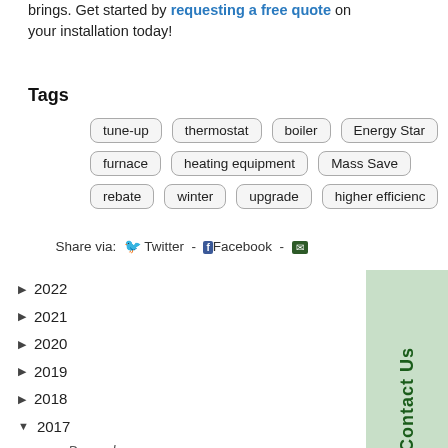brings. Get started by requesting a free quote on your installation today!
Tags
tune-up
thermostat
boiler
Energy Star
furnace
heating equipment
Mass Save
rebate
winter
upgrade
higher efficiency
Share via: Twitter - Facebook - Email
2022
2021
2020
2019
2018
2017
December
November
October